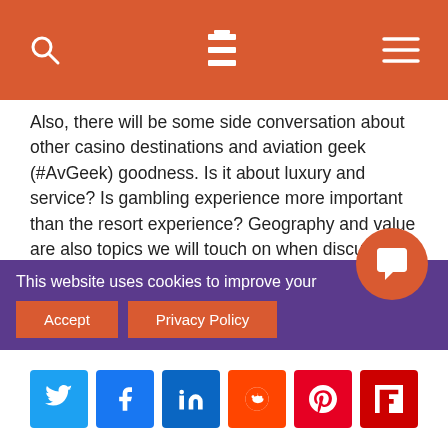Navigation bar with search, logo, and menu icons
Also, there will be some side conversation about other casino destinations and aviation geek (#AvGeek) goodness. Is it about luxury and service? Is gambling experience more important than the resort experience? Geography and value are also topics we will touch on when discussing Las Vegas vs Macau on ZorkCast.
And yes, this episode all came together because of a tweet.
Also, be sure to join the ZorkCast Group on FaceBook. This is the
This website uses cookies to improve your ce.
Accept | Privacy Policy
Social share buttons: Twitter, Facebook, LinkedIn, Reddit, Pinterest, Flipboard